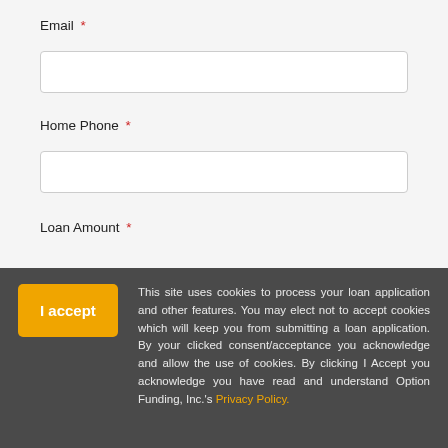Email *
Home Phone *
Loan Amount *
This site uses cookies to process your loan application and other features. You may elect not to accept cookies which will keep you from submitting a loan application. By your clicked consent/acceptance you acknowledge and allow the use of cookies. By clicking I Accept you acknowledge you have read and understand Option Funding, Inc.'s Privacy Policy.
Property Value *
Loan Type *